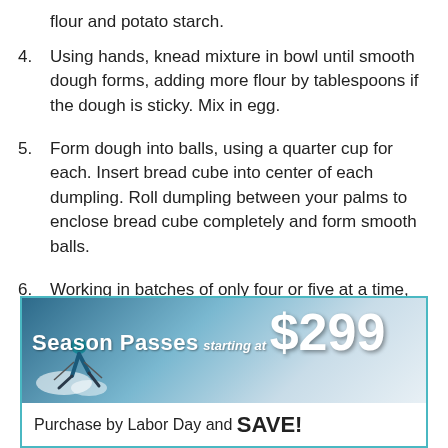flour and potato starch.
4.  Using hands, knead mixture in bowl until smooth dough forms, adding more flour by tablespoons if the dough is sticky. Mix in egg.
5.  Form dough into balls, using a quarter cup for each. Insert bread cube into center of each dumpling. Roll dumpling between your palms to enclose bread cube completely and form smooth balls.
6.  Working in batches of only four or five at a time, cook dumplings in a large pot of nearly
[Figure (infographic): Advertisement banner for Season Passes starting at $299. Shows a skier on a snowy slope with text 'Season Passes starting at $299' at top and 'Purchase by Labor Day and SAVE!' at bottom. Teal/cyan border.]